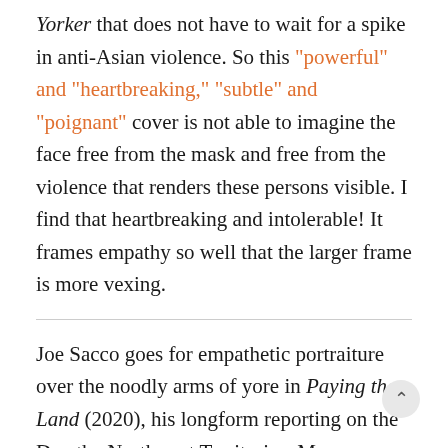Yorker that does not have to wait for a spike in anti-Asian violence. So this "powerful" and "heartbreaking," "subtle" and "poignant" cover is not able to imagine the face free from the mask and free from the violence that renders these persons visible. I find that heartbreaking and intolerable! It frames empathy so well that the larger frame is more vexing.
Joe Sacco goes for empathetic portraiture over the noodly arms of yore in Paying the Land (2020), his longform reporting on the Den the Northwest Territories. Many chapters are